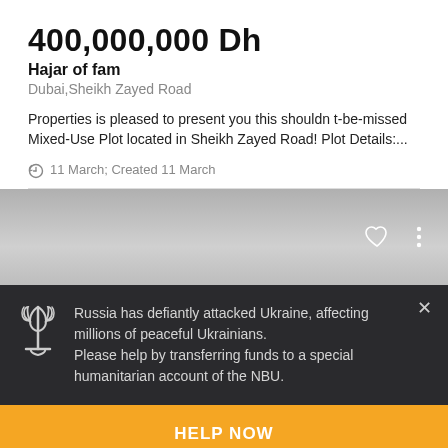400,000,000 Dh
Hajar of fam
Dubai,Sheikh Zayed Road
Properties is pleased to present you this shouldn t-be-missed Mixed-Use Plot located in Sheikh Zayed Road! Plot Details:...
11 March; Created 11 March
[Figure (screenshot): Grey gradient card area with heart and three-dot menu icons on the right]
Russia has defiantly attacked Ukraine, affecting millions of peaceful Ukrainians. Please help by transferring funds to a special humanitarian account of the NBU.
HELP NOW